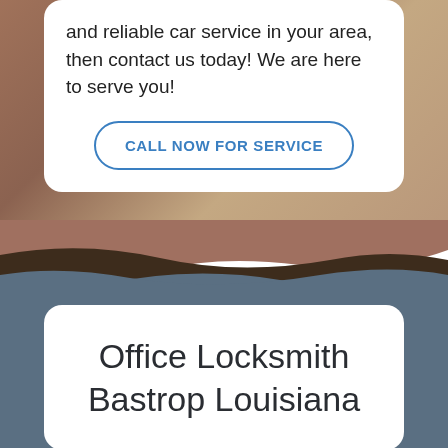and reliable car service in your area, then contact us today! We are here to serve you!
CALL NOW FOR SERVICE
Office Locksmith Bastrop Louisiana